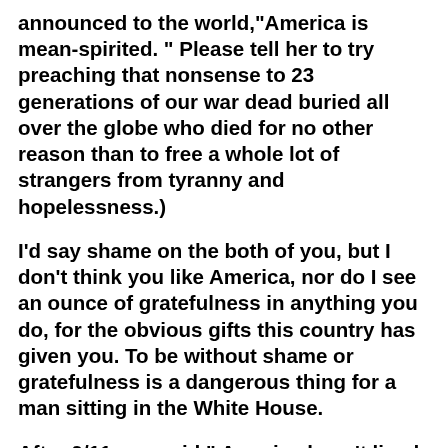announced to the world,"America is mean-spirited. " Please tell her to try preaching that nonsense to 23 generations of our war dead buried all over the globe who died for no other reason than to free a whole lot of strangers from tyranny and hopelessness.)
I'd say shame on the both of you, but I don't think you like America, nor do I see an ounce of gratefulness in anything you do, for the obvious gifts this country has given you. To be without shame or gratefulness is a dangerous thing for a man sitting in the White House.
After 9/11 you said," America hasn't lived